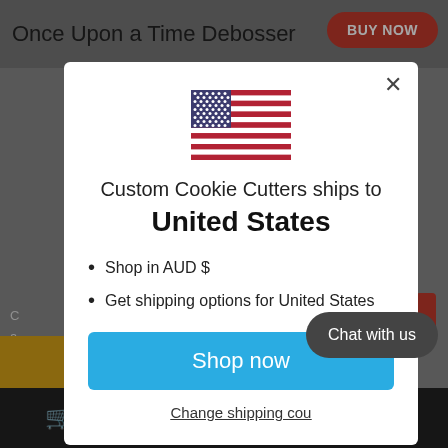Once Upon a Time Debosser
[Figure (screenshot): US flag emoji displayed in modal dialog]
Custom Cookie Cutters ships to United States
Shop in AUD $
Get shipping options for United States
Shop now
Change shipping cou...
Chat with us